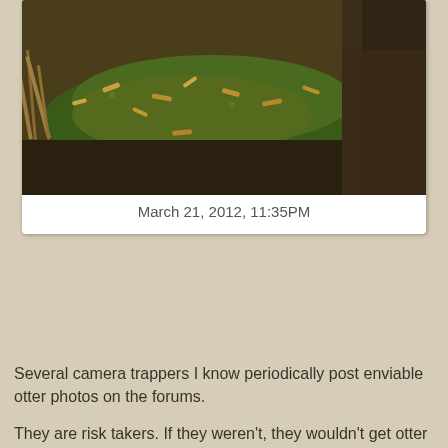[Figure (photo): A mossy log or rock covered in green moss with scattered dead leaves and debris, photographed in a natural outdoor setting with brown soil and vegetation visible.]
March 21, 2012, 11:35PM
Several camera trappers I know periodically post enviable otter photos on the forums.
They are risk takers. If they weren't, they wouldn't get otter pictures.
If you want to get aquatic mammal or waterfowl photos, you have to stake your camera in or near water, and if high water doesn't baptize your camera there's a good chance that men and boys with fishing rods will regard it as a gift from God.
Since this is the third time I've gotten otter photos, I am pleased.